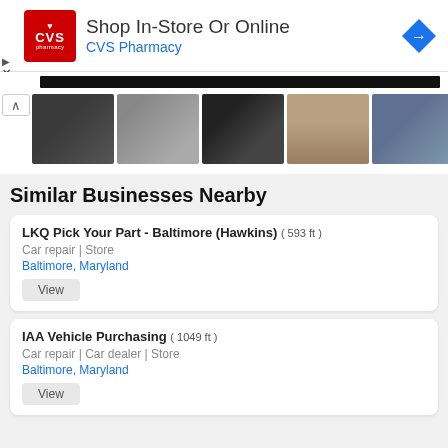[Figure (infographic): CVS Pharmacy advertisement banner with logo, 'Shop In-Store Or Online' text, and navigation icon]
[Figure (photo): Horizontal strip of junkyard/salvage yard photo thumbnails with up-arrow navigation]
Similar Businesses Nearby
LKQ Pick Your Part - Baltimore (Hawkins) ( 593 ft )
Car repair | Store
Baltimore, Maryland
IAA Vehicle Purchasing ( 1049 ft )
Car repair | Car dealer | Store
Baltimore, Maryland